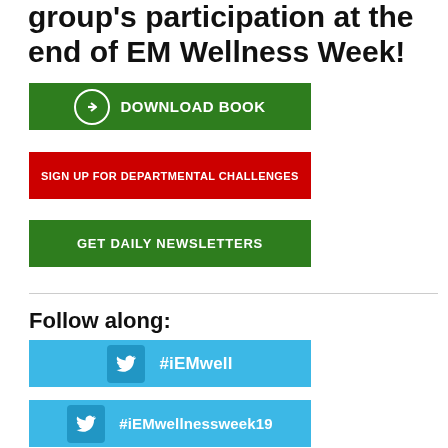group's participation at the end of EM Wellness Week!
[Figure (other): Green button with arrow icon labeled DOWNLOAD BOOK]
[Figure (other): Red button labeled SIGN UP FOR DEPARTMENTAL CHALLENGES]
[Figure (other): Green button labeled GET DAILY NEWSLETTERS]
Follow along:
[Figure (other): Blue Twitter button with bird icon and #iEMwell hashtag]
[Figure (other): Blue Twitter button with bird icon and #iEMwellnessweek19 hashtag]